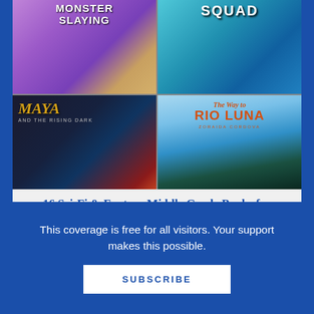[Figure (illustration): 2x2 grid of book covers: top-left shows 'Monster Slaying' cover with fantasy art, top-right shows 'Squad' cover with illustrated characters on teal background, bottom-left shows 'Maya and the Rising Dark' cover with dark fantasy art and golden title text, bottom-right shows 'The Way to Rio Luna' by Zoraida Cordova with orange title text on sky background]
16 Sci-Fi & Fantasy Middle Grade Books for Exciting Summer Escapes | Summer Reading 2020
[Figure (illustration): Partial view of a book cover showing a red circular shape on a light beige background, cropped at bottom]
This coverage is free for all visitors. Your support makes this possible.
SUBSCRIBE